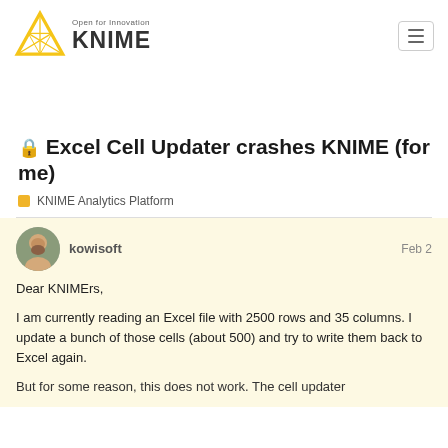[Figure (logo): KNIME logo with yellow triangle graphic and text 'Open for Innovation' above 'KNIME' in dark grey bold letters]
🔒 Excel Cell Updater crashes KNIME (for me)
KNIME Analytics Platform
kowisoft   Feb 2
Dear KNIMErs,

I am currently reading an Excel file with 2500 rows and 35 columns. I update a bunch of those cells (about 500) and try to write them back to Excel again.

But for some reason, this does not work. The cell updater...